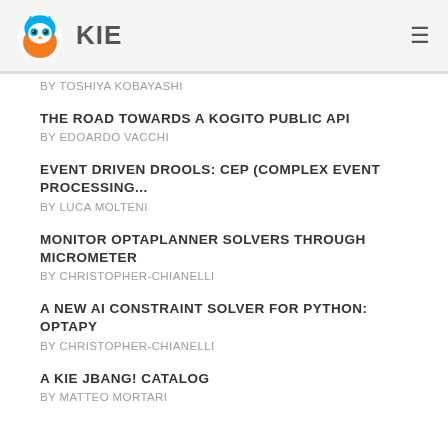KIE
BY TOSHIYA KOBAYASHI
THE ROAD TOWARDS A KOGITO PUBLIC API
BY EDOARDO VACCHI
EVENT DRIVEN DROOLS: CEP (COMPLEX EVENT PROCESSING...
BY LUCA MOLTENI
MONITOR OPTAPLANNER SOLVERS THROUGH MICROMETER
BY CHRISTOPHER-CHIANELLI
A NEW AI CONSTRAINT SOLVER FOR PYTHON: OPTAPY
BY CHRISTOPHER-CHIANELLI
A KIE JBANG! CATALOG
BY MATTEO MORTARI